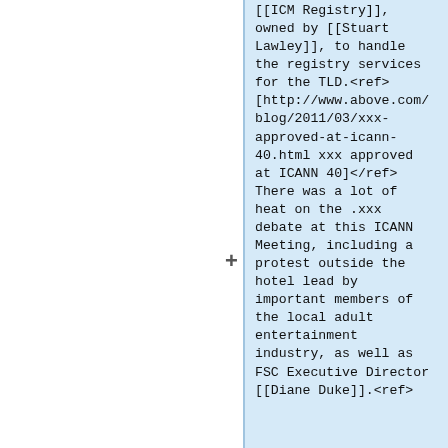[[ICM Registry]], owned by [[Stuart Lawley]], to handle the registry services for the TLD.<ref>[http://www.above.com/blog/2011/03/xxx-approved-at-icann-40.html xxx approved at ICANN 40]</ref> There was a lot of heat on the .xxx debate at this ICANN Meeting, including a protest outside the hotel lead by important members of the local adult entertainment industry, as well as FSC Executive Director [[Diane Duke]].<ref>